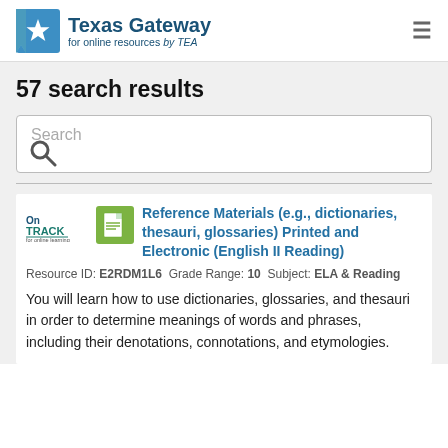[Figure (logo): Texas Gateway for online resources by TEA logo with star icon]
57 search results
[Figure (screenshot): Search input box with search icon]
[Figure (logo): OnTRACK logo]
Reference Materials (e.g., dictionaries, thesauri, glossaries) Printed and Electronic (English II Reading)
Resource ID: E2RDM1L6  Grade Range: 10  Subject: ELA & Reading
You will learn how to use dictionaries, glossaries, and thesauri in order to determine meanings of words and phrases, including their denotations, connotations, and etymologies.